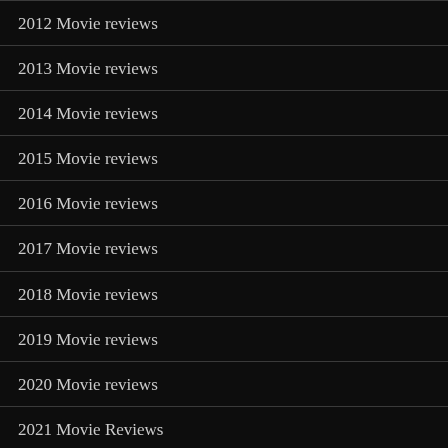2012 Movie reviews
2013 Movie reviews
2014 Movie reviews
2015 Movie reviews
2016 Movie reviews
2017 Movie reviews
2018 Movie reviews
2019 Movie reviews
2020 Movie reviews
2021 Movie Reviews
2022 Movie reviews
Action Films